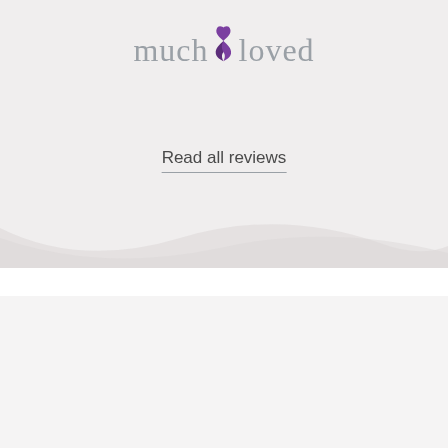[Figure (logo): muchloved logo with purple awareness ribbon between 'much' and 'loved' in grey serif text]
Read all reviews
[Figure (illustration): Grey wave/swoosh decorative divider separating top grey section from white section]
Thinking about a Funeral Plan?
[Figure (logo): Choice funeral plans logo in magenta/pink bold text with a small leaf icon superscript, on white background, with grey decorative watermark shape on right]